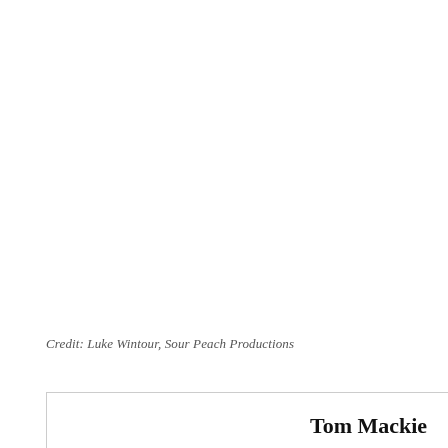Credit: Luke Wintour, Sour Peach Productions
Tom Mackie